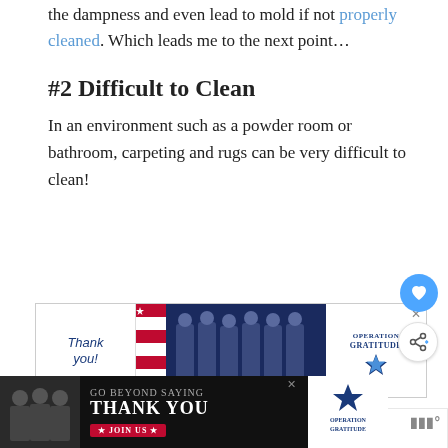the dampness and even lead to mold if not properly cleaned. Which leads me to the next point…
#2 Difficult to Clean
In an environment such as a powder room or bathroom, carpeting and rugs can be very difficult to clean!
[Figure (photo): Operation Gratitude advertisement banner with 'Thank you!' text, American flag pencil graphic, group photo of people in dark uniforms, and Operation Gratitude logo]
[Figure (infographic): Floating heart/like button (blue circle) and share button (white circle with share icon)]
[Figure (photo): Operation Gratitude bottom advertisement banner with 'Go Beyond Saying Thank You' text and Join Us button]